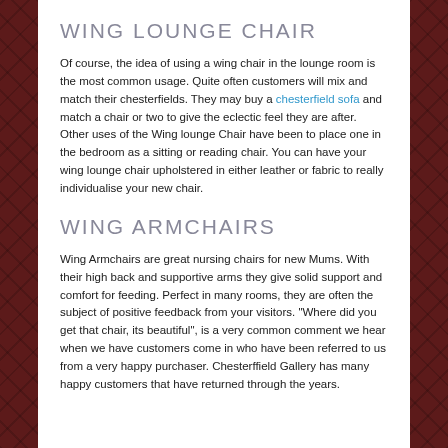WING LOUNGE CHAIR
Of course, the idea of using a wing chair in the lounge room is the most common usage. Quite often customers will mix and match their chesterfields. They may buy a chesterfield sofa and match a chair or two to give the eclectic feel they are after. Other uses of the Wing lounge Chair have been to place one in the bedroom as a sitting or reading chair. You can have your wing lounge chair upholstered in either leather or fabric to really individualise your new chair.
WING ARMCHAIRS
Wing Armchairs are great nursing chairs for new Mums. With their high back and supportive arms they give solid support and comfort for feeding. Perfect in many rooms, they are often the subject of positive feedback from your visitors. "Where did you get that chair, its beautiful", is a very common comment we hear when we have customers come in who have been referred to us from a very happy purchaser. Chesterffield Gallery has many happy customers that have returned through the years.